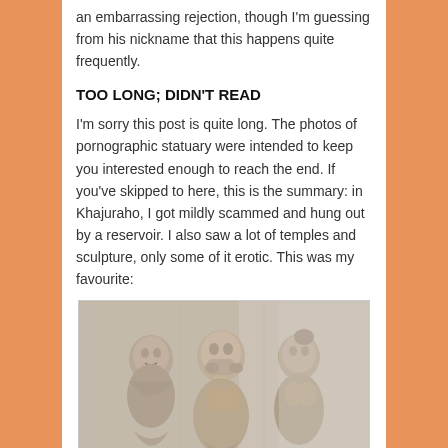an embarrassing rejection, though I'm guessing from his nickname that this happens quite frequently.
TOO LONG; DIDN'T READ
I'm sorry this post is quite long. The photos of pornographic statuary were intended to keep you interested enough to reach the end. If you've skipped to here, this is the summary: in Khajuraho, I got mildly scammed and hung out by a reservoir. I also saw a lot of temples and sculpture, only some of it erotic. This was my favourite:
[Figure (photo): Stone sculpture relief from Khajuraho temples showing three carved figures, likely apsaras or temple dancers, in intricate detail with expressive faces and ornamentation.]